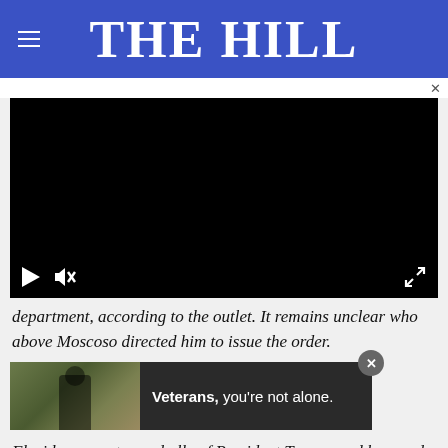THE HILL
[Figure (screenshot): Embedded video player with black screen, play button and mute icon at bottom left, fullscreen icon at bottom right]
department, according to the outlet. It remains unclear who above Moscoso directed him to issue the order.
[Figure (photo): Advertisement banner: Veterans, you're not alone. — with photo of person in background]
Florid supporter and ally of President Trump, and has made